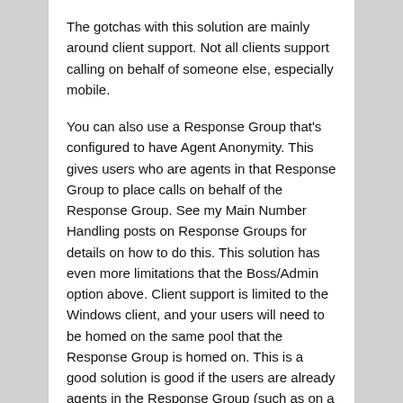The gotchas with this solution are mainly around client support. Not all clients support calling on behalf of someone else, especially mobile.
You can also use a Response Group that's configured to have Agent Anonymity. This gives users who are agents in that Response Group to place calls on behalf of the Response Group. See my Main Number Handling posts on Response Groups for details on how to do this. This solution has even more limitations that the Boss/Admin option above. Client support is limited to the Windows client, and your users will need to be homed on the same pool that the Response Group is homed on. This is a good solution is good if the users are already agents in the Response Group (such as on a helpdesk), but otherwise I wouldn't bother with this one.
And lastly, Ken Lasko outlines how to implement *67 in Skype for Business here.